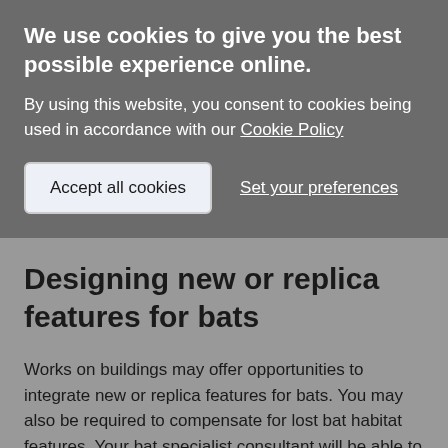We use cookies to give you the best possible experience online.
By using this website, you consent to cookies being used in accordance with our Cookie Policy
Accept all cookies
Set your preferences
Designing new or replica features for bats
Works on buildings may offer opportunities to integrate new or replica features for bats. You may also be required to compensate for lost bat habitat features. Your bat specialist consultant will be able to advise you on designing such features and suitable